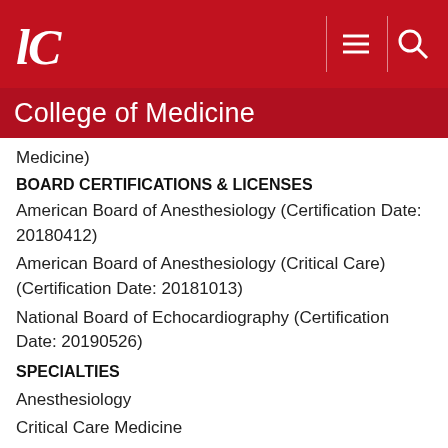UC College of Medicine
Medicine)
BOARD CERTIFICATIONS & LICENSES
American Board of Anesthesiology (Certification Date: 20180412)
American Board of Anesthesiology (Critical Care) (Certification Date: 20181013)
National Board of Echocardiography (Certification Date: 20190526)
SPECIALTIES
Anesthesiology
Critical Care Medicine
Echocardiography